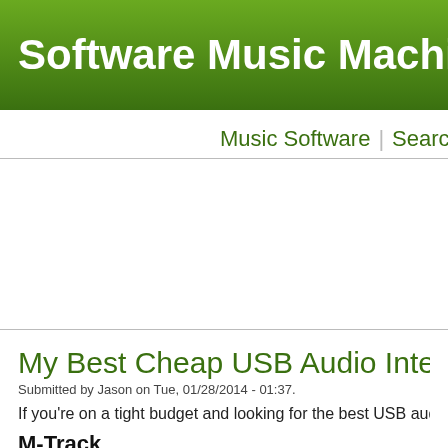Software Music Machine Arc
Music Software  Search  Music Equipme
My Best Cheap USB Audio Interface R
Submitted by Jason on Tue, 01/28/2014 - 01:37.
If you're on a tight budget and looking for the best USB audio interface
M-Track
Manufactured by M